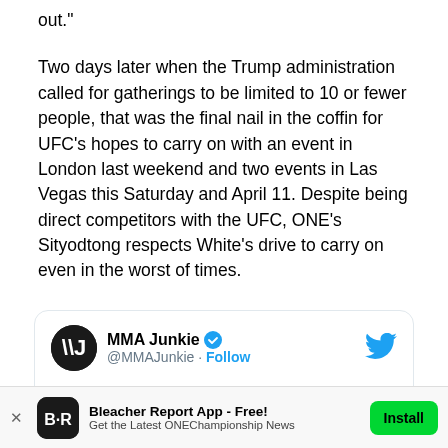out."
Two days later when the Trump administration called for gatherings to be limited to 10 or fewer people, that was the final nail in the coffin for UFC's hopes to carry on with an event in London last weekend and two events in Las Vegas this Saturday and April 11. Despite being direct competitors with the UFC, ONE's Sityodtong respects White's drive to carry on even in the worst of times.
[Figure (screenshot): Embedded tweet from MMA Junkie (@MMAJunkie) with Twitter bird logo, verified badge, Follow button, and tweet text beginning '#UFC president Dana White explains why he did everything in his power to keep the']
Bleacher Report App - Free! Get the Latest ONEChampionship News